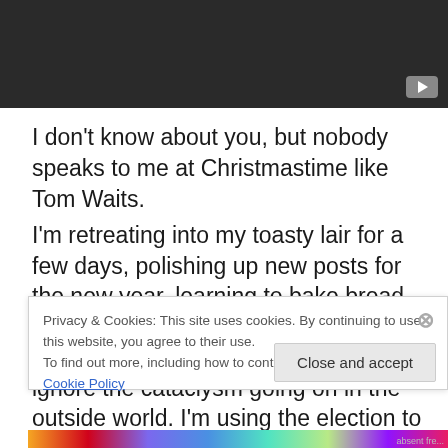[Figure (screenshot): Dark video player bar with play button in bottom-right corner]
I don't know about you, but nobody speaks to me at Christmastime like Tom Waits.
I'm retreating into my toasty lair for a few days, polishing up new posts for the new year, learning to bake bread, reading, hiking in the woods of the Sierra foothills, and basically trying to ignore the cataclysm going on in the outside world. I'm using the election to immerse myself in
Privacy & Cookies: This site uses cookies. By continuing to use this website, you agree to their use.
To find out more, including how to control cookies, see here: Cookie Policy
Close and accept